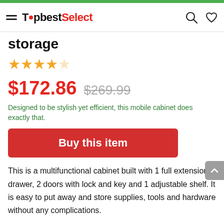TopbestSelect
storage
★★★★☆
$172.86  $269.99
Designed to be stylish yet efficient, this mobile cabinet does exactly that.
Buy this item
This is a multifunctional cabinet built with 1 full extension drawer, 2 doors with lock and key and 1 adjustable shelf. It is easy to put away and store supplies, tools and hardware without any complications.